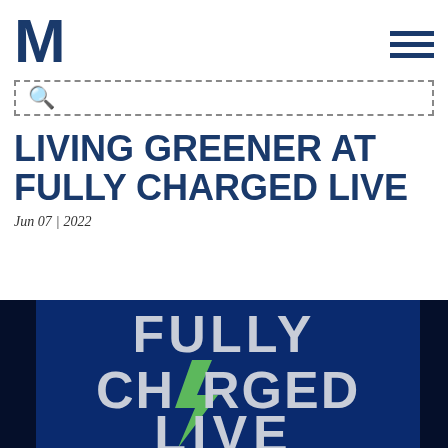M (logo) | hamburger menu
Search bar
LIVING GREENER AT FULLY CHARGED LIVE
Jun 07 | 2022
[Figure (photo): Fully Charged Live event logo on dark blue background with white and green text reading FULLY CHARGED LIVE]